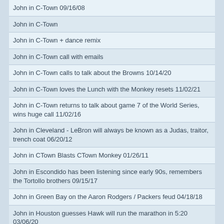John in C-Town 09/16/08
John in C-Town
John in C-Town + dance remix
John in C-Town call with emails
John in C-Town calls to talk about the Browns 10/14/20
John in C-Town loves the Lunch with the Monkey resets 11/02/21
John in C-Town returns to talk about game 7 of the World Series, wins huge call 11/02/16
John in Cleveland - LeBron will always be known as a Judas, traitor, trench coat 06/20/12
John in CTown Blasts CTown Monkey 01/26/11
John in Escondido has been listening since early 90s, remembers the Tortollo brothers 09/15/17
John in Green Bay on the Aaron Rodgers / Packers feud 04/18/18
John in Houston guesses Hawk will run the marathon in 5:20 03/06/20
John in Houston is a 63 years old marathon runner, warns Hawk that runners die 03/20/19
John in Illinois kept asking Rome questions, got run 10/02/18
John in Kansas City is blind, thanks Rome for being a bright spot 11/13/18
John in Little Rock becomes first caller ever to get Smackoff Golden Ticket despite flaming and getting run 05/08/15
John in Little Rock calls at the end of the show, wins Guns-N-Roses tickets with G&R reset 04/04/16